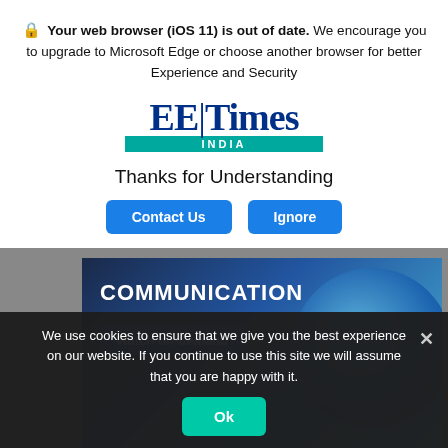Your web browser (iOS 11) is out of date. We encourage you to upgrade to Microsoft Edge or choose another browser for better Experience and Security
[Figure (logo): EE Times India logo with teal INDIA bar]
Thanks for Understanding
Contact Us  Ignore
[Figure (screenshot): COMMUNICATION banner with Watch on-demand button and satellite/earth image]
We use cookies to ensure that we give you the best experience on our website. If you continue to use this site we will assume that you are happy with it.
Ok